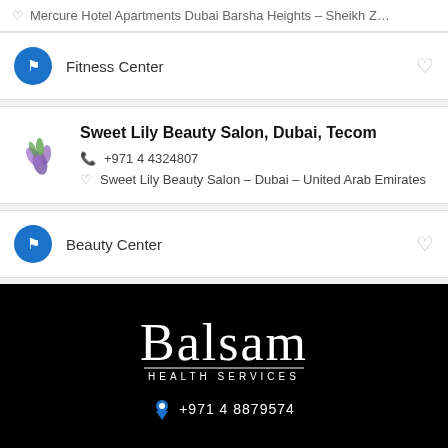Mercure Hotel Apartments Dubai Barsha Heights – Sheikh Z...
Fitness Center
Sweet Lily Beauty Salon, Dubai, Tecom
+971 4 4324807
Sweet Lily Beauty Salon – Dubai – United Arab Emirates
Beauty Center
[Figure (logo): Balsam Health Services logo in white on black background]
+971 4 8879574